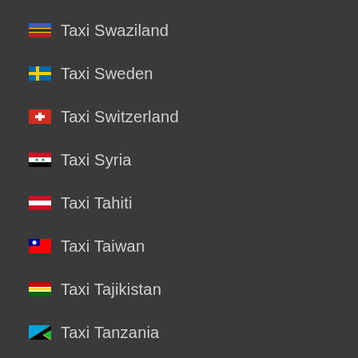Taxi Swaziland
Taxi Sweden
Taxi Switzerland
Taxi Syria
Taxi Tahiti
Taxi Taiwan
Taxi Tajikistan
Taxi Tanzania
Taxi Thailand
Taxi Timor Leste
Taxi Togo